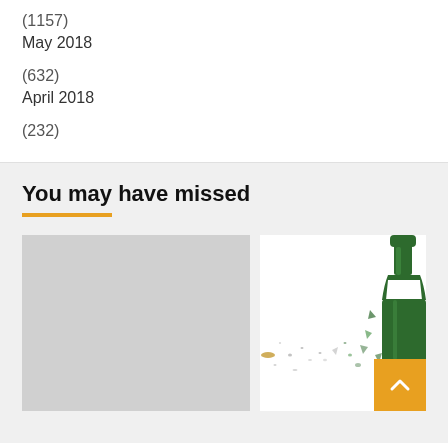(1157)
May 2018
(632)
April 2018
(232)
You may have missed
[Figure (photo): Gray placeholder rectangle on left]
[Figure (photo): Green wine bottle shattering/exploding on white background, with orange back-to-top arrow button overlay in bottom right]